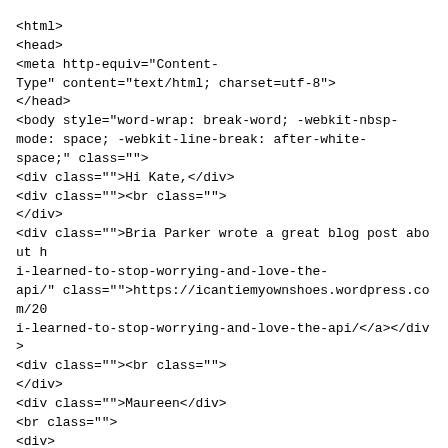<html>
<head>
<meta http-equiv="Content-Type" content="text/html; charset=utf-8">
</head>
<body style="word-wrap: break-word; -webkit-nbsp-mode: space; -webkit-line-break: after-white-space;" class="">
<div class="">Hi Kate,</div>
<div class=""><br class="">
</div>
<div class="">Bria Parker wrote a great blog post about h i-learned-to-stop-worrying-and-love-the-api/" class="">https://icantiemyownshoes.wordpress.com/20 i-learned-to-stop-worrying-and-love-the-api/</a></div>
<div class=""><br class="">
</div>
<div class="">Maureen</div>
<br class="">
<div>
<blockquote type="cite" class="">
<div class="">On Jan 13, 2016, at 1:03 PM, Kate Tasker <
</div>
<br class="Apple-interchange-newline">
<div class="">
<div dir="ltr" class="">
<div class="gmail_extra">Hi Emma and all,</div>
<div class="gmail_extra"><br class="">
</div>
<div class="gmail_extra">Just want to note that using all